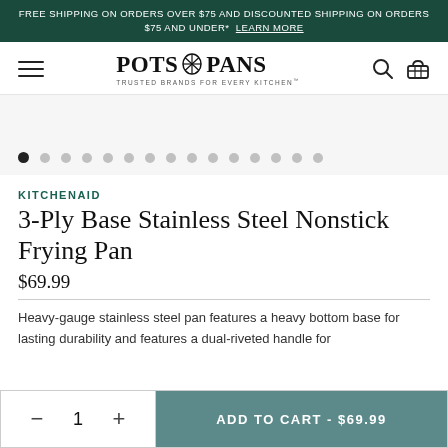FREE SHIPPING ON ORDERS OVER $75 AND DISCOUNTED SHIPPING ON ORDERS $75 AND UNDER* LEARN MORE
[Figure (logo): Pots & Pans logo with hamburger menu, search icon, and cart icon in navigation bar]
[Figure (other): Image carousel with 14 dots, first dot active (black), rest grey]
KITCHENAID
3-Ply Base Stainless Steel Nonstick Frying Pan
$69.99
Heavy-gauge stainless steel pan features a heavy bottom base for lasting durability and features a dual-riveted handle for
ADD TO CART - $69.99